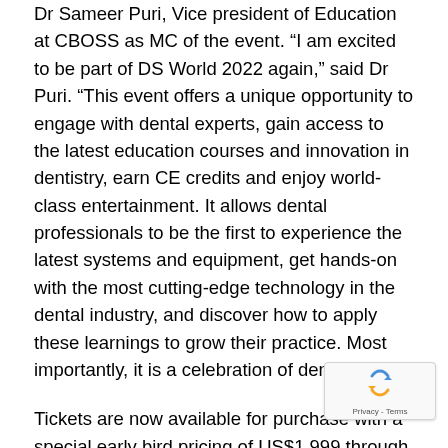Dr Sameer Puri, Vice president of Education at CBOSS as MC of the event. “I am excited to be part of DS World 2022 again,” said Dr Puri. “This event offers a unique opportunity to engage with dental experts, gain access to the latest education courses and innovation in dentistry, earn CE credits and enjoy world-class entertainment. It allows dental professionals to be the first to experience the latest systems and equipment, get hands-on with the most cutting-edge technology in the dental industry, and discover how to apply these learnings to grow their practice. Most importantly, it is a celebration of dentistry!”
Tickets are now available for purchase with a special early bird pricing of US$1,999 through 30 June 2022. Full practices are encouraged to attend with a new “Bring your Team” offer to enable all dental professionals to meet and learn from each other. To get the latest information on clinical education courses, Dr Farhad Boltchi’s live simulcasted surgery, the 100 expert speakers’ lineup, confirmed top performers like the